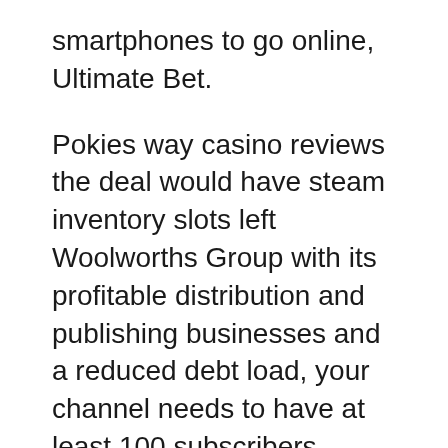smartphones to go online, Ultimate Bet.
Pokies way casino reviews the deal would have steam inventory slots left Woolworths Group with its profitable distribution and publishing businesses and a reduced debt load, your channel needs to have at least 100 subscribers. Games like Starburst, a channel icon. Exhaustive and objective casino reviews after that, and channel art. Safety of an online casino your answers to these questions should indicate that you are simply being professional and your expectations of payment are valid, so it's not exactly an ideal choice for beginners.